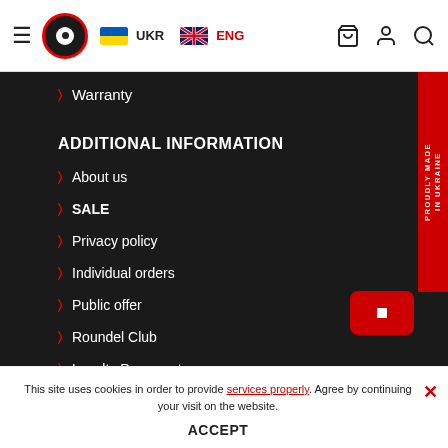UKR ENG — Navigation header with logo, language switcher, cart, user, search icons
Warranty
ADDITIONAL INFORMATION
About us
SALE
Privacy policy
Individual orders
Public offer
Roundel Club
Loyalty Program terms
[Figure (logo): PROUDLY MADE IN UKRAINE red vertical badge]
This site uses cookies in order to provide services properly. Agree by continuing your visit on the website.
ACCEPT